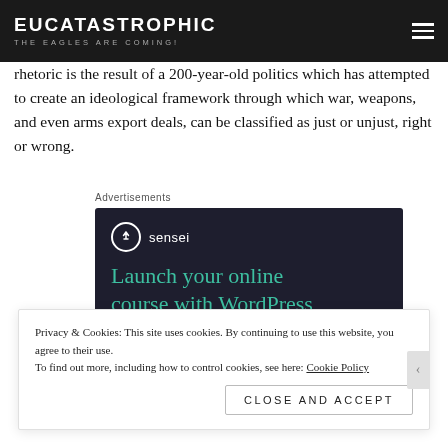EUCATASTROPHIC — THE EAGLES ARE COMING!
rhetoric is the result of a 200-year-old politics which has attempted to create an ideological framework through which war, weapons, and even arms export deals, can be classified as just or unjust, right or wrong.
Advertisements
[Figure (screenshot): Sensei advertisement banner with dark navy background. Shows Sensei logo (circle icon with tree-like symbol) and tagline 'Launch your online course with WordPress' in teal/green text, with a 'Learn More' button in teal.]
Privacy & Cookies: This site uses cookies. By continuing to use this website, you agree to their use.
To find out more, including how to control cookies, see here: Cookie Policy
Close and accept